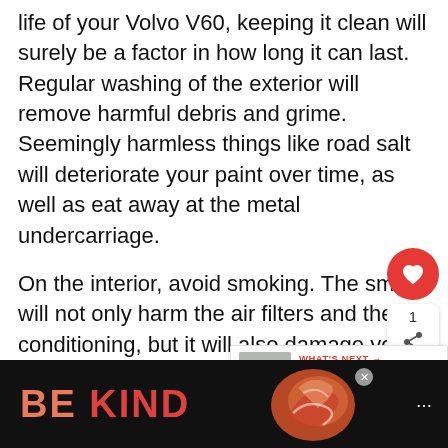life of your Volvo V60, keeping it clean will surely be a factor in how long it can last. Regular washing of the exterior will remove harmful debris and grime. Seemingly harmless things like road salt will deteriorate your paint over time, as well as eat away at the metal undercarriage.
On the interior, avoid smoking. The smoke will not only harm the air filters and the air conditioning, but it will also damage your electronics. You'll also want to routinely vacuum the interior of your V60 so that you can have your filtration system at its best.
[Figure (screenshot): UI overlay with red heart/like button, share count of 1, and share icon button]
[Figure (screenshot): What's Next card showing car thumbnail image with label 'WHAT'S NEXT →' and text 'How Long Does A Buic...']
[Figure (screenshot): Advertisement banner at bottom with dark background, 'BE KIND' text in coral/red color and floral decorative element, with close button]